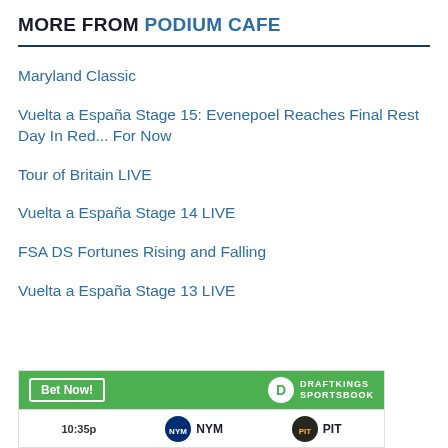MORE FROM PODIUM CAFE
Maryland Classic
Vuelta a España Stage 15: Evenepoel Reaches Final Rest Day In Red... For Now
Tour of Britain LIVE
Vuelta a España Stage 14 LIVE
FSA DS Fortunes Rising and Falling
Vuelta a España Stage 13 LIVE
[Figure (other): DraftKings Sportsbook advertisement banner with 'Bet Now!' button and a scores row showing NYM vs PIT with time 10:35p]